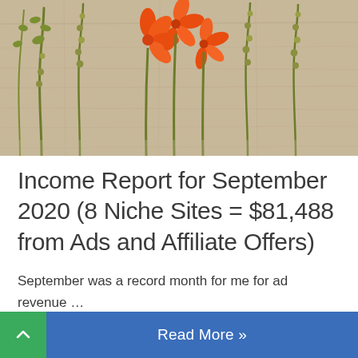[Figure (photo): Flat lay of botanical stems and orange flowers arranged in a row on a light wood background]
Income Report for September 2020 (8 Niche Sites = $81,488 from Ads and Affiliate Offers)
September was a record month for me for ad revenue …
Read More »